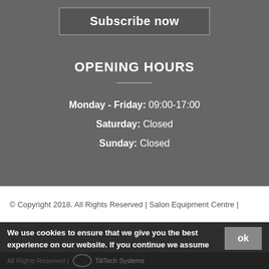Subscribe now
OPENING HOURS
Monday - Friday: 09:00-17:00
Saturday: Closed
Sunday: Closed
© Copyright 2018. All Rights Reserved | Salon Equipment Centre |
We use cookies to ensure that we give you the best experience on our website. If you continue we assume that you consent to receive all cookies on our website.